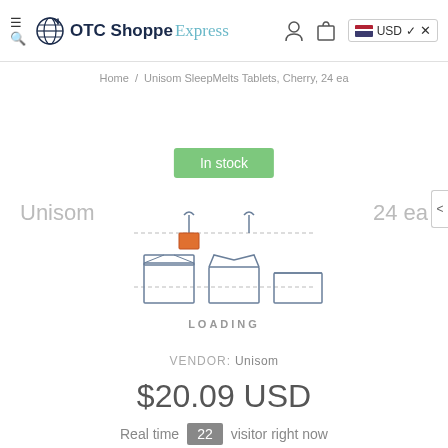OTC Shoppe Express — USD
Home / Unisom SleepMelts Tablets, Cherry, 24 ea
In stock
Unisom
24 ea
[Figure (illustration): Loading animation with icons representing conveyor/shipping process — dashed line with boxes and hanging items]
LOADING
VENDOR: Unisom
$20.09 USD
Real time 22 visitor right now